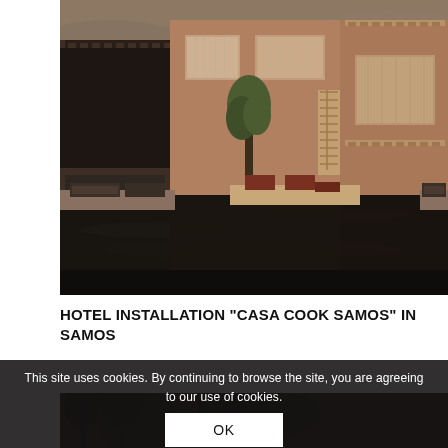[Figure (photo): Luxury hotel exterior with terracotta/tan stucco architecture, dark-framed windows with sheer curtains, a tree, lounge chairs and sunbeds beside a dark reflecting pool, mountains/hills in the background]
HOTEL INSTALLATION “CASA COOK SAMOS” IN SAMOS
[Figure (photo): Partially visible second hotel photo at bottom of page, dark tones with vegetation silhouettes]
This site uses cookies. By continuing to browse the site, you are agreeing to our use of cookies.